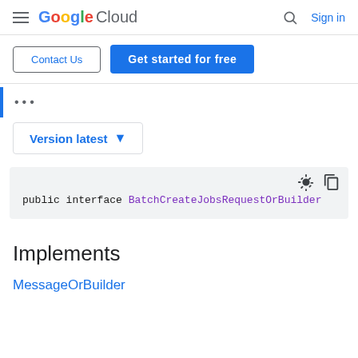Google Cloud  Search  Sign in
Contact Us  |  Get started for free
...
Version latest
public interface BatchCreateJobsRequestOrBuilder
Implements
MessageOrBuilder